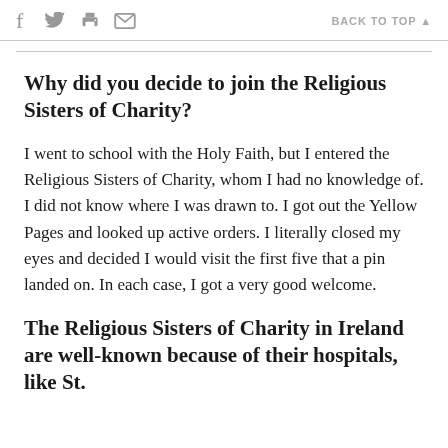f [twitter] [print] [email]   BACK TO TOP ▲
Why did you decide to join the Religious Sisters of Charity?
I went to school with the Holy Faith, but I entered the Religious Sisters of Charity, whom I had no knowledge of. I did not know where I was drawn to. I got out the Yellow Pages and looked up active orders. I literally closed my eyes and decided I would visit the first five that a pin landed on. In each case, I got a very good welcome.
The Religious Sisters of Charity in Ireland are well-known because of their hospitals, like St.